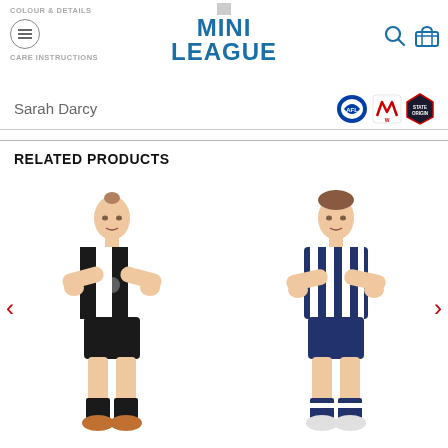COLOUR & DETAILS | MINI LEAGUE | CARE INSTRUCTIONS
Sarah Darcy
[Figure (logo): AFL, AFLW, and State of Origin logos]
RELATED PRODUCTS
[Figure (photo): Female AFL player figurine in black and white Collingwood-style jersey with arms crossed]
[Figure (photo): Female AFL player figurine in blue and white Geelong-style striped jersey with arms crossed]